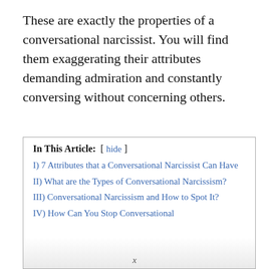These are exactly the properties of a conversational narcissist. You will find them exaggerating their attributes demanding admiration and constantly conversing without concerning others.
In This Article: [ hide ]
I) 7 Attributes that a Conversational Narcissist Can Have
II) What are the Types of Conversational Narcissism?
III) Conversational Narcissism and How to Spot It?
IV) How Can You Stop Conversational...